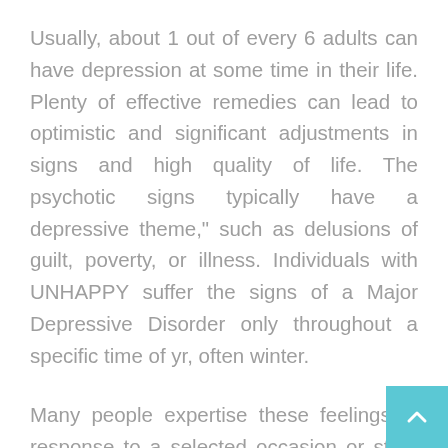Usually, about 1 out of every 6 adults can have depression at some time in their life. Plenty of effective remedies can lead to optimistic and significant adjustments in signs and high quality of life. The psychotic signs typically have a depressive theme," such as delusions of guilt, poverty, or illness. Individuals with UNHAPPY suffer the signs of a Major Depressive Disorder only throughout a specific time of yr, often winter.
Many people expertise these feelings in response to a selected occasion or state of affairs in their lives, but depression is different. Some folks start to really feel better a number of days after starting the medication, however it